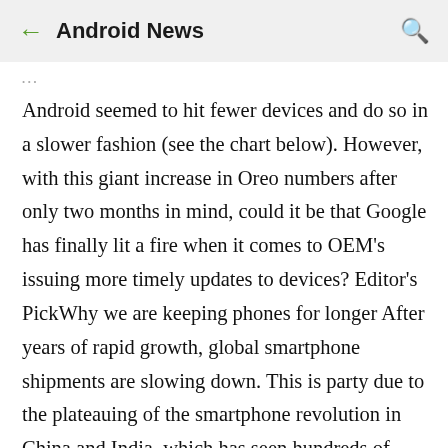← Android News 🔍
Android seemed to hit fewer devices and do so in a slower fashion (see the chart below). However, with this giant increase in Oreo numbers after only two months in mind, could it be that Google has finally lit a fire when it comes to OEM's issuing more timely updates to devices? Editor's PickWhy we are keeping phones for longer After years of rapid growth, global smartphone shipments are slowing down. This is party due to the plateauing of the smartphone revolution in China and India, which has seen hundreds of millions of new customers … However, we also